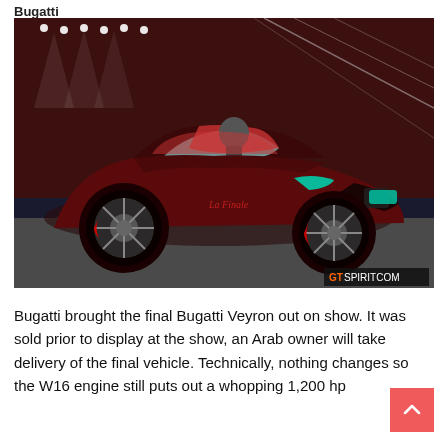Bugatti
[Figure (photo): A dark red/black Bugatti Veyron La Finale supercar on display at an auto show, photographed from a front-three-quarter angle. The car has distinctive LED headlights and a red interior visible through the open top. A man is visible in the driver's seat. The background shows spotlights and a large artistic backdrop. A GT Spirit watermark appears in the lower right corner.]
Bugatti brought the final Bugatti Veyron out on show. It was sold prior to display at the show, an Arab owner will take delivery of the final vehicle. Technically, nothing changes so the W16 engine still puts out a whopping 1,200 hp